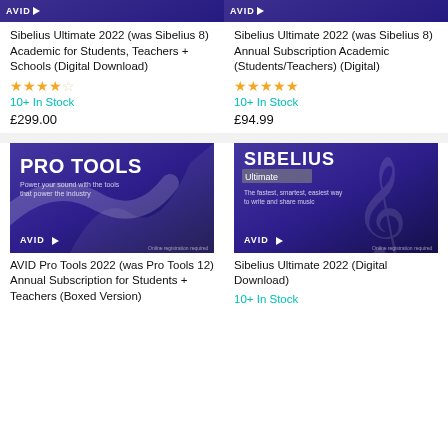[Figure (photo): Sibelius / AVID product box top strip (cropped), dark purple background]
Sibelius Ultimate 2022 (was Sibelius 8) Academic for Students, Teachers + Schools (Digital Download)
[Figure (other): Star rating: 3.5 out of 5 stars]
10+ In Stock
£299.00
[Figure (photo): Sibelius / AVID product box top strip (cropped), dark purple background]
Sibelius Ultimate 2022 (was Sibelius 8) Annual Subscription Academic (Students/Teachers) (Digital)
[Figure (other): Star rating: 5 out of 5 stars]
10+ In Stock
£94.99
[Figure (photo): AVID Pro Tools product box, dark purple background, 'PRO TOOLS' in large white text, 'Power your sound with the tools that power the industry', AVID logo at bottom left]
AVID Pro Tools 2022 (was Pro Tools 12) Annual Subscription for Students + Teachers (Boxed Version)
[Figure (photo): Sibelius Ultimate product box, dark purple background, 'SIBELIUS' in large white text, 'Ultimate' in grey bar, 'The fastest, smartest, easiest way to write and share music', AVID logo at bottom left, treble clef graphic]
Sibelius Ultimate 2022 (Digital Download)
10+ In Stock